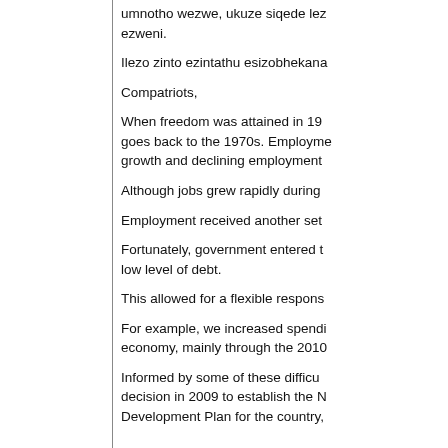umnotho wezwe, ukuze siqede lez ezweni.
Ilezo zinto ezintathu esizobhekana
Compatriots,
When freedom was attained in 19 goes back to the 1970s. Employme growth and declining employment
Although jobs grew rapidly during
Employment received another set
Fortunately, government entered t low level of debt.
This allowed for a flexible respons
For example, we increased spendi economy, mainly through the 2010
Informed by some of these difficu decision in 2009 to establish the N Development Plan for the country,